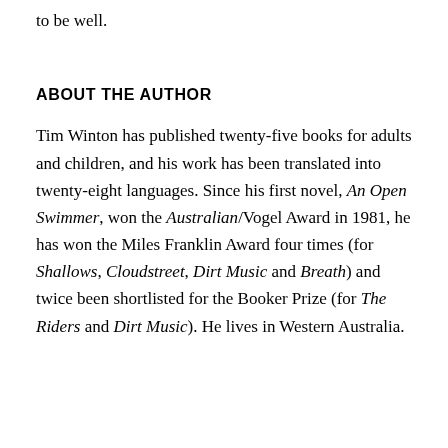to be well.
ABOUT THE AUTHOR
Tim Winton has published twenty-five books for adults and children, and his work has been translated into twenty-eight languages. Since his first novel, An Open Swimmer, won the Australian/Vogel Award in 1981, he has won the Miles Franklin Award four times (for Shallows, Cloudstreet, Dirt Music and Breath) and twice been shortlisted for the Booker Prize (for The Riders and Dirt Music). He lives in Western Australia.